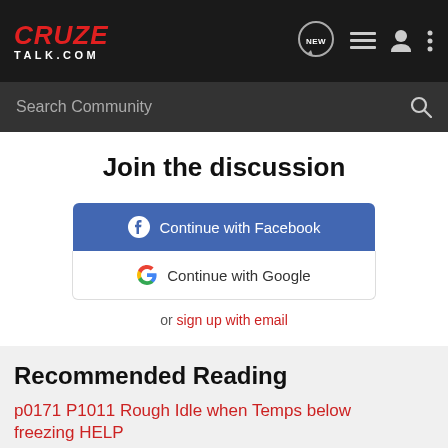[Figure (screenshot): CruzeTalk.com website logo in red italic font with white TALK.COM text below, on dark navigation bar]
CRUZE TALK.COM — navigation bar with NEW chat icon, list icon, user icon, menu icon, and Search Community search bar
Join the discussion
Continue with Facebook
Continue with Google
or sign up with email
Recommended Reading
p0171 P1011 Rough Idle when Temps below